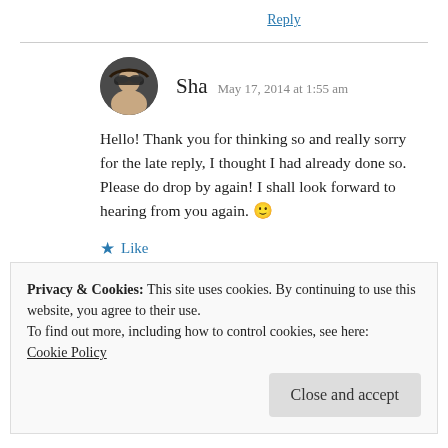Reply
[Figure (photo): Avatar photo of user Sha — a woman wearing sunglasses, circular profile picture]
Sha  May 17, 2014 at 1:55 am
Hello! Thank you for thinking so and really sorry for the late reply, I thought I had already done so. Please do drop by again! I shall look forward to hearing from you again. 🙂
★ Like
Privacy & Cookies: This site uses cookies. By continuing to use this website, you agree to their use.
To find out more, including how to control cookies, see here:
Cookie Policy

Close and accept